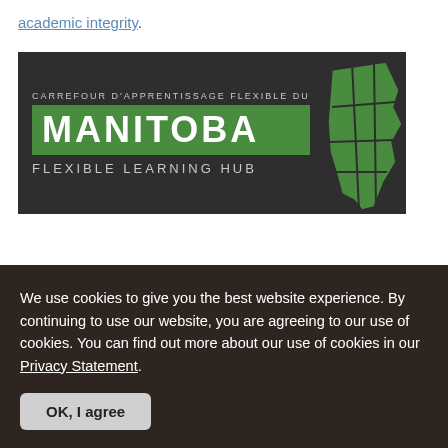academic integrity.
[Figure (logo): Manitoba Flexible Learning Hub logo — dark background with green bar containing MANITOBA in large white text, 'CARREFOUR D'APPRENTISSAGE FLEXIBLE DU' above, 'FLEXIBLE LEARNING HUB' below, and a green map outline of Manitoba on the right]
We use cookies to give you the best website experience. By continuing to use our website, you are agreeing to our use of cookies. You can find out more about our use of cookies in our Privacy Statement.
OK, I agree